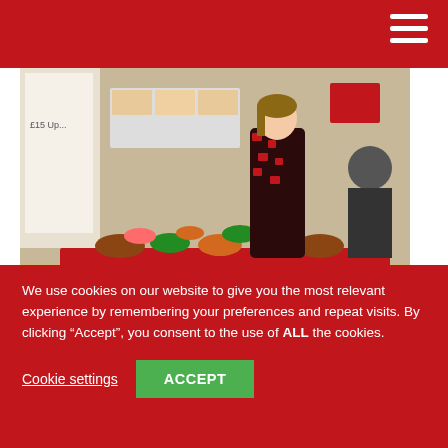[Figure (photo): A person standing behind a table covered with baked goods and food items inside a hair and beauty salon. Signs visible in the background including 'Cu...', 'Hair Beauty Salon'. Table has red covering with various cakes and food.]
The eighth annual CRY Great Cake Bake took
We use cookies on our website to give you the most relevant experience by remembering your preferences and repeat visits. By clicking “Accept”, you consent to the use of ALL the cookies.
Cookie settings
ACCEPT